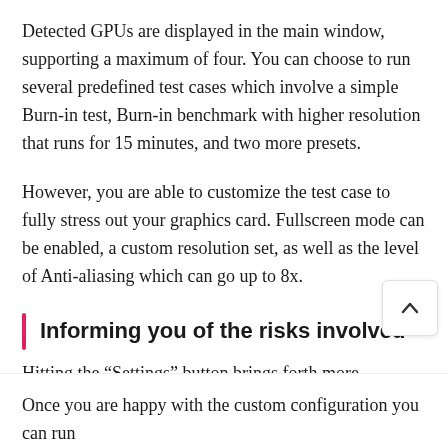Detected GPUs are displayed in the main window, supporting a maximum of four. You can choose to run several predefined test cases which involve a simple Burn-in test, Burn-in benchmark with higher resolution that runs for 15 minutes, and two more presets.
However, you are able to customize the test case to fully stress out your graphics card. Fullscreen mode can be enabled, a custom resolution set, as well as the level of Anti-aliasing which can go up to 8x.
Informing you of the risks involved
Hitting the “Settings” button brings forth more options. You can enable dynamic background or camera, burn-in, xtreme burn-in and post-fx. To be on the safe side, you can toggle an optio let you know when the GPU reached a custom temperature you don’t literally fry your video card.
Once you are happy with the custom configuration you can run